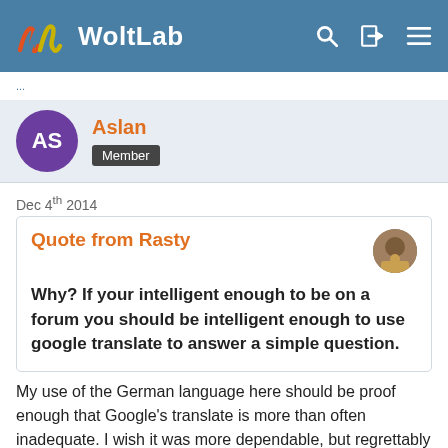WoltLab
Dec 4th 2014
Quote from Rasty

Why? If your intelligent enough to be on a forum you should be intelligent enough to use google translate to answer a simple question.
My use of the German language here should be proof enough that Google's translate is more than often inadequate. I wish it was more dependable, but regrettably